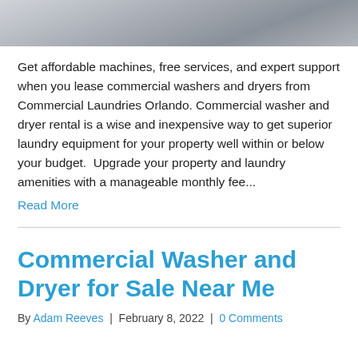[Figure (photo): Partial view of a commercial laundry/washer image, cropped at top of page]
Get affordable machines, free services, and expert support when you lease commercial washers and dryers from Commercial Laundries Orlando. Commercial washer and dryer rental is a wise and inexpensive way to get superior laundry equipment for your property well within or below your budget.  Upgrade your property and laundry amenities with a manageable monthly fee...
Read More
Commercial Washer and Dryer for Sale Near Me
By Adam Reeves | February 8, 2022 | 0 Comments